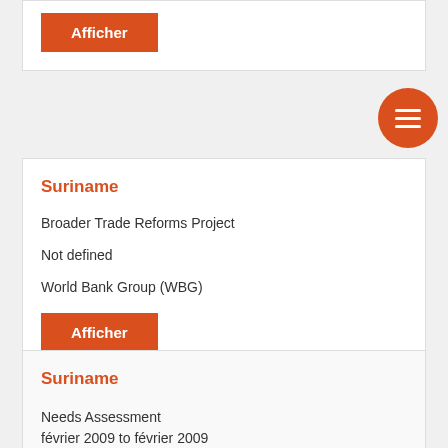Afficher (button, top card, partial)
Suriname

Broader Trade Reforms Project

Not defined

World Bank Group (WBG)

Afficher
Suriname

Needs Assessment
février 2009 to février 2009